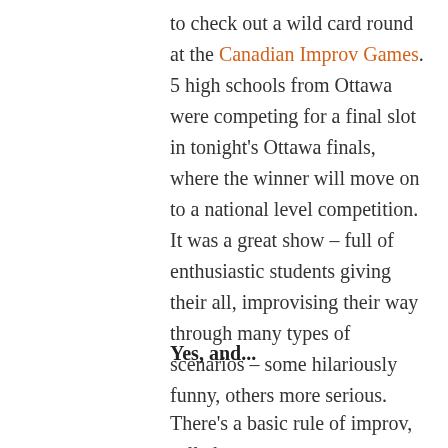to check out a wild card round at the Canadian Improv Games. 5 high schools from Ottawa were competing for a final slot in tonight's Ottawa finals, where the winner will move on to a national level competition. It was a great show – full of enthusiastic students giving their all, improvising their way through many types of scenarios – some hilariously funny, others more serious.
Yes, and...
There's a basic rule of improv, called